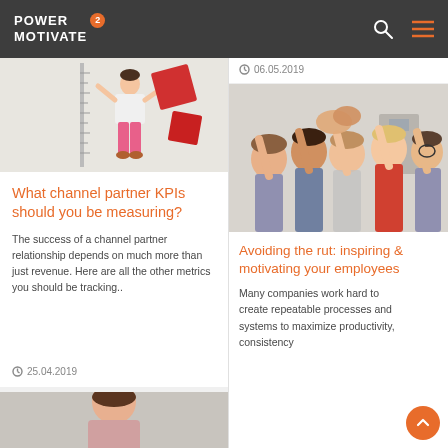Power 2 Motivate
[Figure (photo): Child measuring height against a wall with colorful shapes]
What channel partner KPIs should you be measuring?
The success of a channel partner relationship depends on much more than just revenue. Here are all the other metrics you should be tracking..
25.04.2019
[Figure (photo): Female person photo partially visible]
06.05.2019
[Figure (photo): Group of young professionals giving a high five in an office]
Avoiding the rut: inspiring & motivating your employees
Many companies work hard to create repeatable processes and systems to maximize productivity, consistency